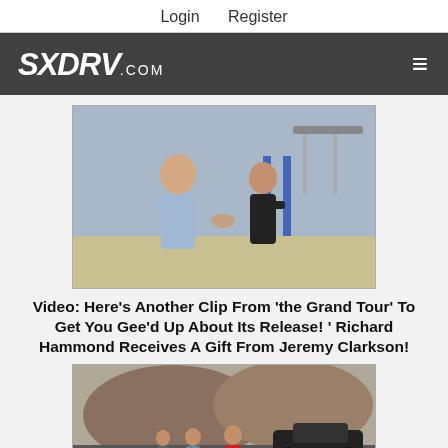Login   Register
[Figure (logo): SXDRV.com website logo with hamburger menu icon on dark grey navigation bar]
[Figure (photo): Two men shaking hands outdoors near a parking structure with solar panels and blue pillars. One man is in a light blue shirt (Jeremy Clarkson), the other in a black shirt (Richard Hammond).]
Video: Here's Another Clip From 'the Grand Tour' To Get You Gee'd Up About Its Release! ' Richard Hammond Receives A Gift From Jeremy Clarkson!
[Figure (photo): Three people standing on a road in a desert landscape near a dark sports car. One person is in a red shirt with arms outstretched.]